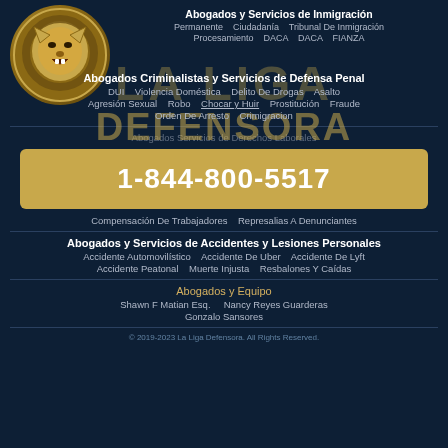[Figure (logo): Lion head logo in a gold circle — La Liga Defensora law firm logo]
LA LIGA DEFENSORA
Abogados y Servicios de Inmigración
Permanente   Ciudadanía   Tribunal De Inmigración
Procesamiento DACA   DACA   FIANZA
Abogados Criminalistas y Servicios de Defensa Penal
DUI   Violencia Doméstica   Delito De Drogas   Asalto
Agresión Sexual   Robo   Chocar y Huir   Prostitución   Fraude
Orden De Arresto   Crimigracion
1-844-800-5517
Compensación De Trabajadores   Represalias A Denunciantes
Abogados y Servicios de Accidentes y Lesiones Personales
Accidente Automovilístico   Accidente De Uber   Accidente De Lyft
Accidente Peatonal   Muerte Injusta   Resbalones Y Caídas
Abogados y Equipo
Shawn F Matian Esq.   Nancy Reyes Guarderas
Gonzalo Sansores
© 2019-2023 La Liga Defensora. All Rights Reserved.